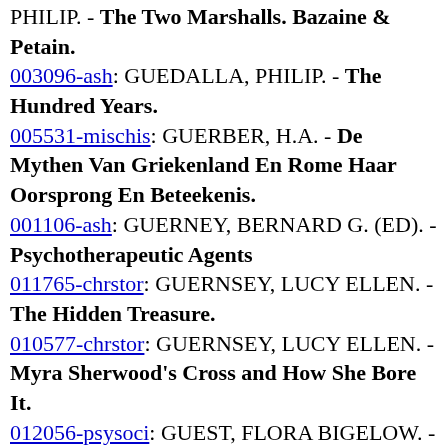PHILIP. - The Two Marshalls. Bazaine & Petain.
003096-ash: GUEDALLA, PHILIP. - The Hundred Years.
005531-mischis: GUERBER, H.A. - De Mythen Van Griekenland En Rome Haar Oorsprong En Beteekenis.
001106-ash: GUERNEY, BERNARD G. (ED). - Psychotherapeutic Agents
011765-chrstor: GUERNSEY, LUCY ELLEN. - The Hidden Treasure.
010577-chrstor: GUERNSEY, LUCY ELLEN. - Myra Sherwood's Cross and How She Bore It.
012056-psysoci: GUEST, FLORA BIGELOW. - Casting out Fear.